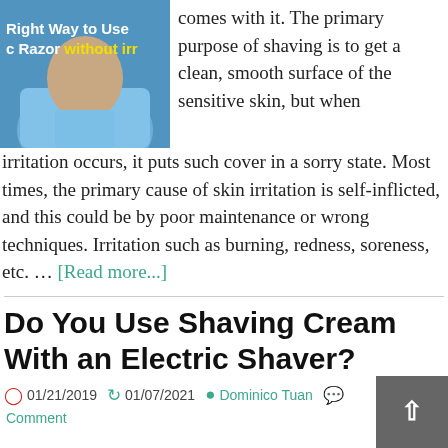[Figure (photo): Thumbnail image showing a person in a blue shirt with overlay text 'Right Way to Use Razor without irr' in white and yellow on a blue background]
comes with it. The primary purpose of shaving is to get a clean, smooth surface of the sensitive skin, but when irritation occurs, it puts such cover in a sorry state. Most times, the primary cause of skin irritation is self-inflicted, and this could be by poor maintenance or wrong techniques. Irritation such as burning, redness, soreness, etc. … [Read more...]
Do You Use Shaving Cream With an Electric Shaver?
01/21/2019   01/07/2021   Dominico Tuan   Comment